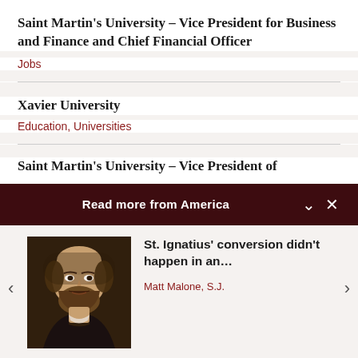Saint Martin's University – Vice President for Business and Finance and Chief Financial Officer
Jobs
Xavier University
Education, Universities
Saint Martin's University – Vice President of
Read more from America
[Figure (photo): Portrait painting of St. Ignatius of Loyola, a man with a beard and dark clothing against a dark background]
St. Ignatius' conversion didn't happen in an...
Matt Malone, S.J.